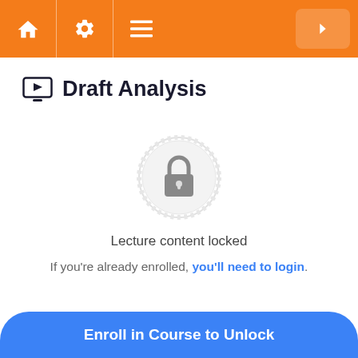Navigation bar with home, settings, menu icons and next button
Draft Analysis
[Figure (illustration): A locked padlock icon centered within a decorative circular badge/seal shape in light gray, indicating locked content]
Lecture content locked
If you're already enrolled, you'll need to login.
Enroll in Course to Unlock